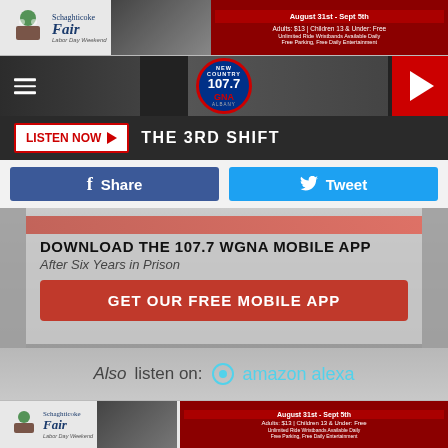[Figure (screenshot): Schaghticoke Fair advertisement banner - August 31st - Sept 5th, Adults: $13, Children 13 & Under: Free, Unlimited Ride Wristbands Available Daily, Free Parking, Free Daily Entertainment]
[Figure (logo): 107.7 GNA New Country Albany radio station logo and navigation bar with hamburger menu and play button]
LISTEN NOW  THE 3RD SHIFT
Share  Tweet
DOWNLOAD THE 107.7 WGNA MOBILE APP
After Six Years in Prison
GET OUR FREE MOBILE APP
Also listen on:  amazon alexa
[Figure (screenshot): Schaghticoke Fair advertisement banner bottom - August 31st - Sept 5th, Adults: $13, Children 13 & Under: Free]